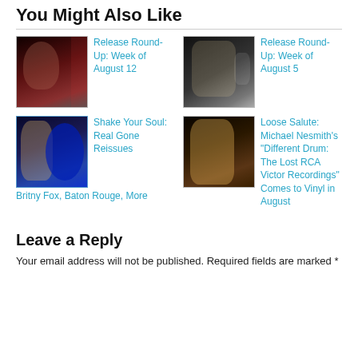You Might Also Like
[Figure (photo): Album cover – dark portrait photo (Nick Lowe style)]
Release Round-Up: Week of August 12
[Figure (photo): Album cover – black and white concert/action photo]
Release Round-Up: Week of August 5
[Figure (photo): Album cover – person with blue vinyl record]
Shake Your Soul: Real Gone Reissues Britny Fox, Baton Rouge, More
[Figure (photo): Album cover – Michael Nesmith portrait with colorful jacket]
Loose Salute: Michael Nesmith's "Different Drum: The Lost RCA Victor Recordings" Comes to Vinyl in August
Leave a Reply
Your email address will not be published. Required fields are marked *